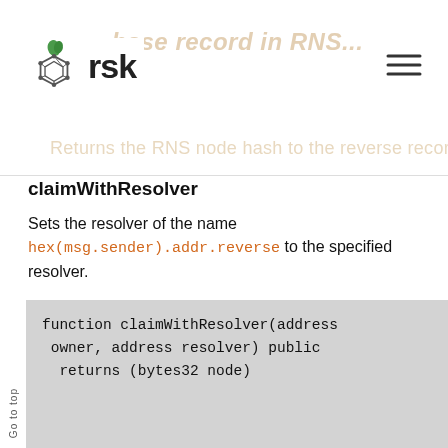RSK logo header with navigation
claimWithResolver
Sets the resolver of the name hex(msg.sender).addr.reverse to the specified resolver.
Transfer ownership of the name to the provided address.
Signature
[Figure (screenshot): Code block showing: function claimWithResolver(address owner, address resolver) public returns (bytes32 node)]